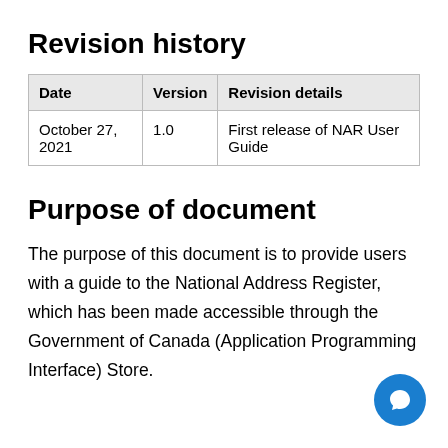Revision history
| Date | Version | Revision details |
| --- | --- | --- |
| October 27, 2021 | 1.0 | First release of NAR User Guide |
Purpose of document
The purpose of this document is to provide users with a guide to the National Address Register, which has been made accessible through the Government of Canada (Application Programming Interface) Store.